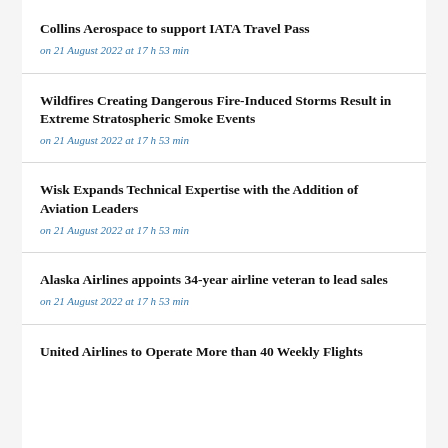Collins Aerospace to support IATA Travel Pass
on 21 August 2022 at 17 h 53 min
Wildfires Creating Dangerous Fire-Induced Storms Result in Extreme Stratospheric Smoke Events
on 21 August 2022 at 17 h 53 min
Wisk Expands Technical Expertise with the Addition of Aviation Leaders
on 21 August 2022 at 17 h 53 min
Alaska Airlines appoints 34-year airline veteran to lead sales
on 21 August 2022 at 17 h 53 min
United Airlines to Operate More than 40 Weekly Flights